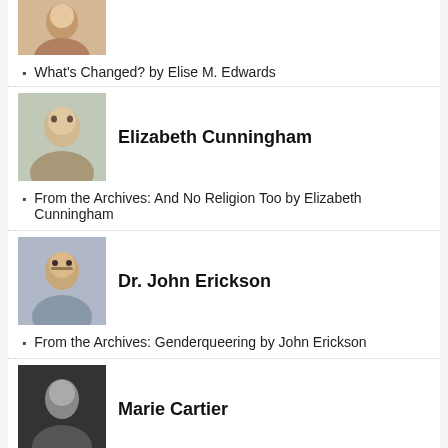[Figure (photo): Small portrait photo at top, partially visible]
What's Changed? by Elise M. Edwards
[Figure (photo): Portrait photo of Elizabeth Cunningham]
Elizabeth Cunningham
From the Archives: And No Religion Too by Elizabeth Cunningham
[Figure (photo): Portrait photo of Dr. John Erickson]
Dr. John Erickson
From the Archives: Genderqueering by John Erickson
[Figure (photo): Portrait photo of Marie Cartier, black and white]
Marie Cartier
“Guns: The Sanctity of Life” by Marie Cartier
[Figure (logo): Feminism and Religion logo with spiral sun and female symbol]
Feminism and Religion
WordPress Alert – UPDATED